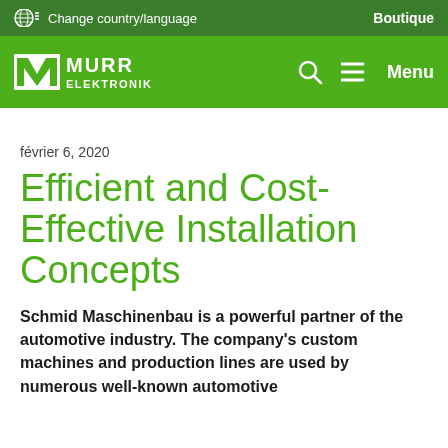Change country/language   Boutique
[Figure (logo): Murr Elektronik logo on green navigation bar with search and menu icons]
février 6, 2020
Efficient and Cost-Effective Installation Concepts
Schmid Maschinenbau is a powerful partner of the automotive industry. The company's custom machines and production lines are used by numerous well-known automotive